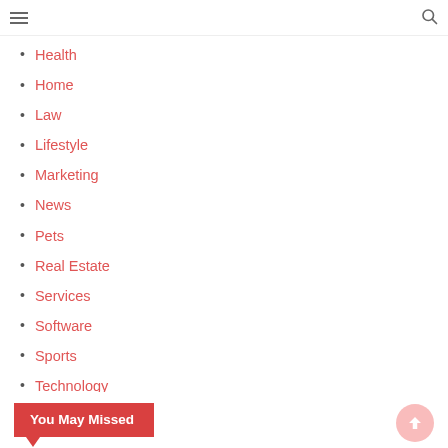navigation header with hamburger menu and search icon
Health
Home
Law
Lifestyle
Marketing
News
Pets
Real Estate
Services
Software
Sports
Technology
Travel
Uncategorized
web development and services
You May Missed